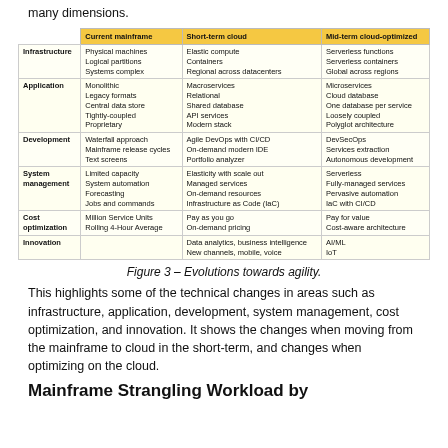many dimensions.
|  | Current mainframe | Short-term cloud | Mid-term cloud-optimized |
| --- | --- | --- | --- |
| Infrastructure | Physical machines
Logical partitions
Systems complex | Elastic compute
Containers
Regional across datacenters | Serverless functions
Serverless containers
Global across regions |
| Application | Monolithic
Legacy formats
Central data store
Tightly-coupled
Proprietary | Macroservices
Relational
Shared database
API services
Modern stack | Microservices
Cloud database
One database per service
Loosely coupled
Polyglot architecture |
| Development | Waterfall approach
Mainframe release cycles
Text screens | Agile DevOps with CI/CD
On-demand modern IDE
Portfolio analyzer | DevSecOps
Services extraction
Autonomous development |
| System management | Limited capacity
System automation
Forecasting
Jobs and commands | Elasticity with scale out
Managed services
On-demand resources
Infrastructure as Code (IaC) | Serverless
Fully-managed services
Pervasive automation
IaC with CI/CD |
| Cost optimization | Million Service Units
Rolling 4-Hour Average | Pay as you go
On-demand pricing | Pay for value
Cost-aware architecture |
| Innovation |  | Data analytics, business intelligence
New channels, mobile, voice | AI/ML
IoT |
Figure 3 – Evolutions towards agility.
This highlights some of the technical changes in areas such as infrastructure, application, development, system management, cost optimization, and innovation. It shows the changes when moving from the mainframe to cloud in the short-term, and changes when optimizing on the cloud.
Mainframe Strangling Workload by